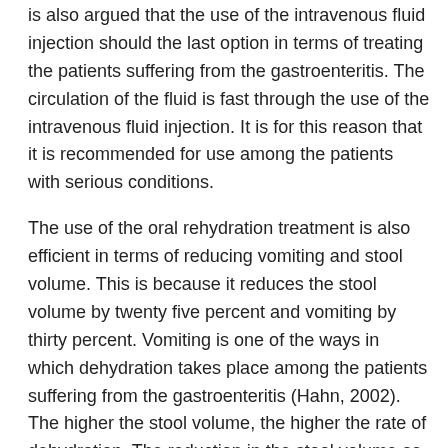is also argued that the use of the intravenous fluid injection should the last option in terms of treating the patients suffering from the gastroenteritis. The circulation of the fluid is fast through the use of the intravenous fluid injection. It is for this reason that it is recommended for use among the patients with serious conditions.
The use of the oral rehydration treatment is also efficient in terms of reducing vomiting and stool volume. This is because it reduces the stool volume by twenty five percent and vomiting by thirty percent. Vomiting is one of the ways in which dehydration takes place among the patients suffering from the gastroenteritis (Hahn, 2002). The higher the stool volume, the higher the rate of dehydration. The reduction in the stool volume as well as vomiting is thus an important measure that reduces the dehydration of the patients.